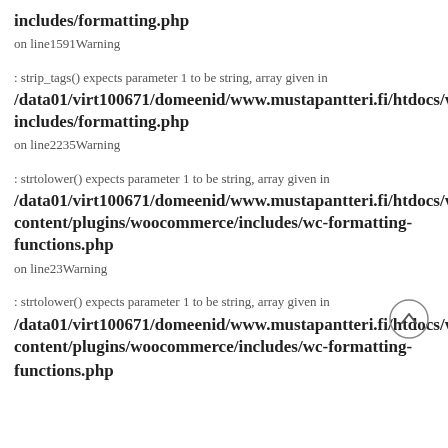includes/formatting.php
on line1591Warning
: strip_tags() expects parameter 1 to be string, array given in /data01/virt100671/domeenid/www.mustapantteri.fi/htdocs/wp-includes/formatting.php
on line2235Warning
: strtolower() expects parameter 1 to be string, array given in /data01/virt100671/domeenid/www.mustapantteri.fi/htdocs/wp-content/plugins/woocommerce/includes/wc-formatting-functions.php
on line23Warning
[Figure (illustration): Scroll-to-top button: circle with an upward chevron (^) inside]
: strtolower() expects parameter 1 to be string, array given in /data01/virt100671/domeenid/www.mustapantteri.fi/htdocs/wp-content/plugins/woocommerce/includes/wc-formatting-functions.php